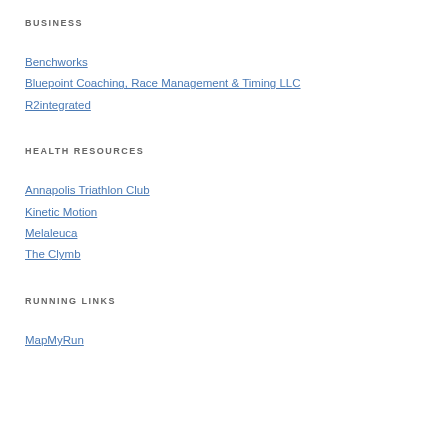BUSINESS
Benchworks
Bluepoint Coaching, Race Management & Timing LLC
R2integrated
HEALTH RESOURCES
Annapolis Triathlon Club
Kinetic Motion
Melaleuca
The Clymb
RUNNING LINKS
MapMyRun